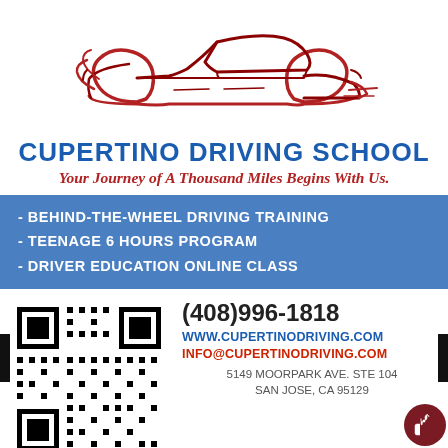[Figure (logo): Red outline illustration of a sports car / sedan viewed from the side, used as the driving school logo]
CUPERTINO DRIVING SCHOOL
Your Journey of A Thousand Miles Begins With Us.
- BEHIND-THE-WHEEL DRIVING TRAINING
- TEENAGE 6 HOURS PROGRAM
- DRIVER EDUCATION ONLINE CLASS
[Figure (other): QR code for Cupertino Driving School]
(408)996-1818
WWW.CUPERTINODRIVING.COM
INFO@CUPERTINODRIVING.COM
5149 MOORPARK AVE. STE 104
SAN JOSE, CA 95129